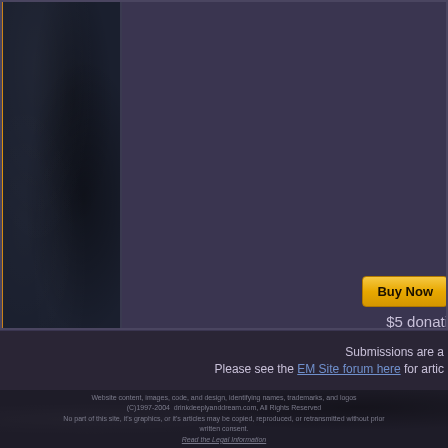[Figure (illustration): Left sidebar with dark navy leather-textured background, orange left border stripe, contained within a bordered box]
Buy Now
$5 donati...
Submissions are a...
Please see the EM Site forum here for artic...
Website content, images, code, and design, identifying names, trademarks, and logos (C)1997-2004 drinkdeeplyanddream.com, All Rights Reserved No part of this site, it's graphics, or it's articles may be copied, reproduced, or retransmitted without prior written consent. Read the Legal Information